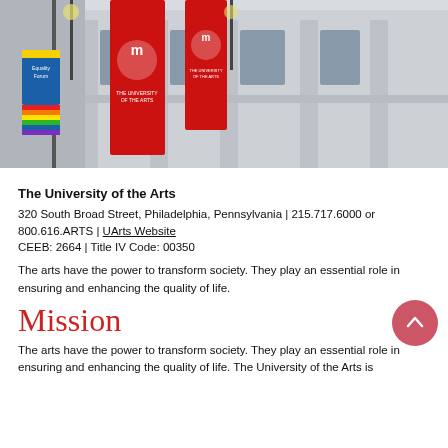[Figure (photo): Exterior photo of The University of the Arts building on South Broad Street, Philadelphia, showing red UArts banners hanging from the neoclassical facade, with street flags including an Equality Forum rainbow flag visible on the left.]
The University of the Arts
320 South Broad Street, Philadelphia, Pennsylvania | 215.717.6000 or 800.616.ARTS | UArts Website
CEEB: 2664 | Title IV Code: 00350
The arts have the power to transform society. They play an essential role in ensuring and enhancing the quality of life.
Mission
The arts have the power to transform society. They play an essential role in ensuring and enhancing the quality of life. The University of the Arts is